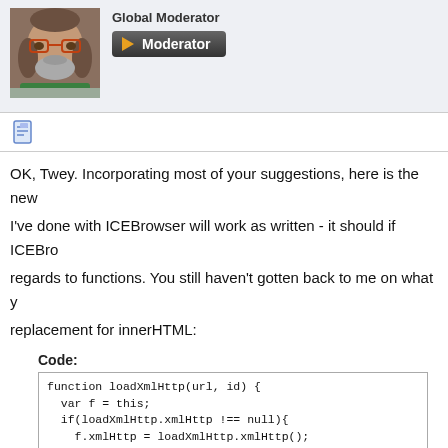[Figure (photo): Profile photo of a man with glasses and gray beard, wearing a green shirt]
Global Moderator
[Figure (other): Moderator badge button with orange play triangle and white text 'Moderator' on dark background]
[Figure (other): Document/notepad icon in blue]
OK, Twey. Incorporating most of your suggestions, here is the new...
I've done with ICEBrowser will work as written - it should if ICEBro...
regards to functions. You still haven't gotten back to me on what y...
replacement for innerHTML:
Code: